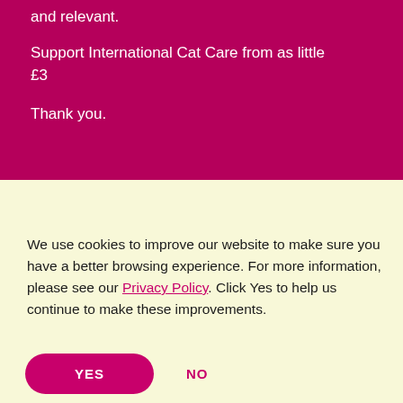and relevant.
Support International Cat Care from as little £3
Thank you.
We use cookies to improve our website to make sure you have a better browsing experience. For more information, please see our Privacy Policy. Click Yes to help us continue to make these improvements.
YES
NO